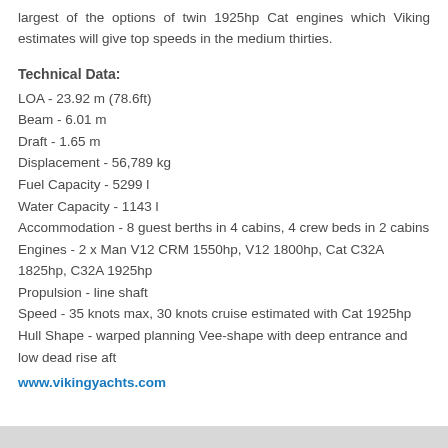largest of the options of twin 1925hp Cat engines which Viking estimates will give top speeds in the medium thirties.
Technical Data:
LOA - 23.92 m (78.6ft)
Beam - 6.01 m
Draft - 1.65 m
Displacement - 56,789 kg
Fuel Capacity - 5299 l
Water Capacity - 1143 l
Accommodation - 8 guest berths in 4 cabins, 4 crew beds in 2 cabins
Engines - 2 x Man V12 CRM 1550hp, V12 1800hp, Cat C32A 1825hp, C32A 1925hp
Propulsion - line shaft
Speed - 35 knots max, 30 knots cruise estimated with Cat 1925hp
Hull Shape - warped planning Vee-shape with deep entrance and low dead rise aft
www.vikingyachts.com